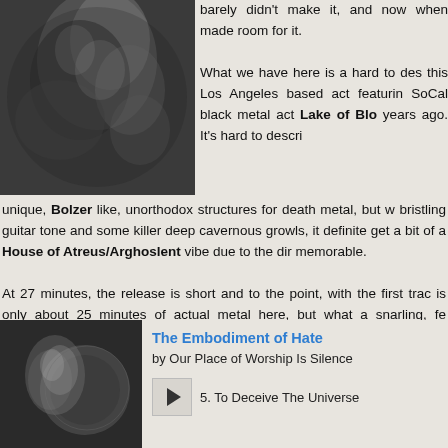[Figure (photo): Black and white photo of a dark, smoky or ethereal figure/scene at top left]
barely didn't make it, and now when made room for it. What we have here is a hard to describe this Los Angeles based act featuring SoCal black metal act Lake of Blood years ago. It's hard to describe unique, Bolzer like, unorthodox structures for death metal, but with a bristling guitar tone and some killer deep cavernous growls, it definitely get a bit of a House of Atreus/Arghoslent vibe due to the dirge memorable.
At 27 minutes, the release is short and to the point, with the first track is only about 25 minutes of actual metal here, but what a snarling, fe minutes it is. After the intro, the wonderfully named "Resplendent M crunchy gallop that was the track that gave me the Arghoslent fee menacing, shriek filled lumbering close out.
[Figure (photo): Black and white artistic photo of a female figure with cosmic/celestial imagery]
The Embodiment of Hate
by Our Place of Worship Is Silence
5.  To Deceive The Universe